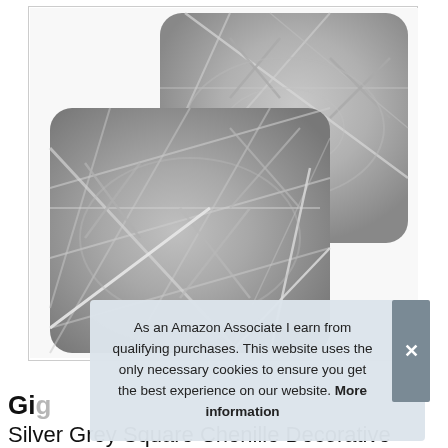[Figure (photo): Two grey chenille decorative throw pillows with silver geometric diamond and crossing line pattern, displayed overlapping on white background inside a light grey border box.]
As an Amazon Associate I earn from qualifying purchases. This website uses the only necessary cookies to ensure you get the best experience on our website. More information
Gig
Silver Grey Square Chenille Decorative